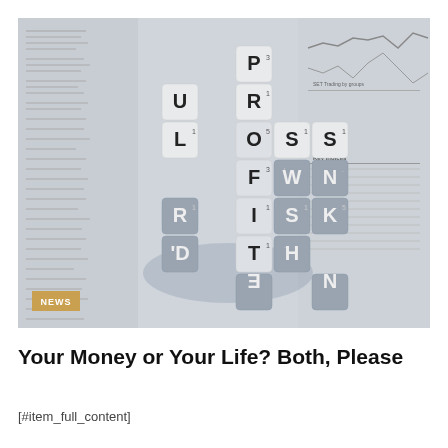[Figure (photo): Scrabble letter dice spelling out PROFIT, LOSS, RISK arranged in a crossword pattern on top of a financial newspaper with stock charts and key indices visible. A tan 'NEWS' badge appears in the lower left corner of the photo.]
Your Money or Your Life? Both, Please
[#item_full_content]